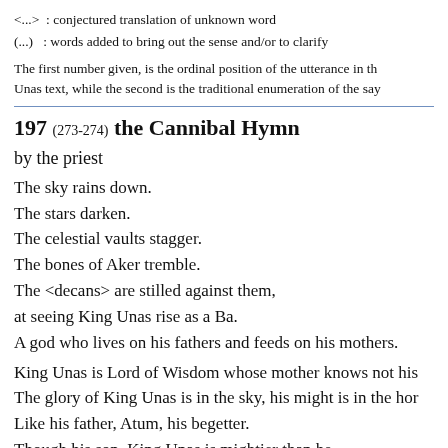<...> : conjectured translation of unknown word
(...) : words added to bring out the sense and/or to clarify
The first number given, is the ordinal position of the utterance in the Unas text, while the second is the traditional enumeration of the say
197 (273-274) the Cannibal Hymn
by the priest
The sky rains down.
The stars darken.
The celestial vaults stagger.
The bones of Aker tremble.
The <decans> are stilled against them,
at seeing King Unas rise as a Ba.
A god who lives on his fathers and feeds on his mothers.
King Unas is Lord of Wisdom whose mother knows not his
The glory of King Unas is in the sky, his might is in the hor
Like his father, Atum, his begetter.
Though his son, King Unas is mightier than he.